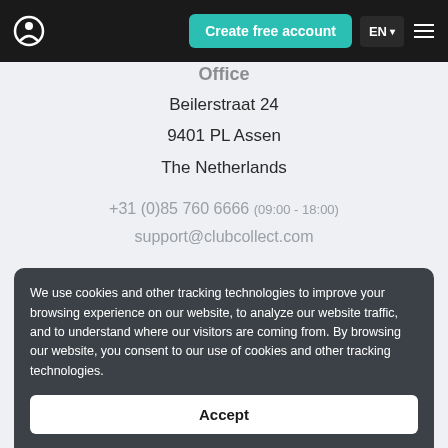ClubCollect — Create free account | EN | Menu
Office
Beilerstraat 24
9401 PL Assen
The Netherlands
+31 (0)85 760 6666 (09:00 - 18:00)
support@clubcollect.com
CoC: 57468907, NLCollect B.V.
Products
Forms
Invoicing
Membership administration
Company
Billing
We use cookies and other tracking technologies to improve your browsing experience on our website, to analyze our website traffic, and to understand where our visitors are coming from. By browsing our website, you consent to our use of cookies and other tracking technologies.
Accept